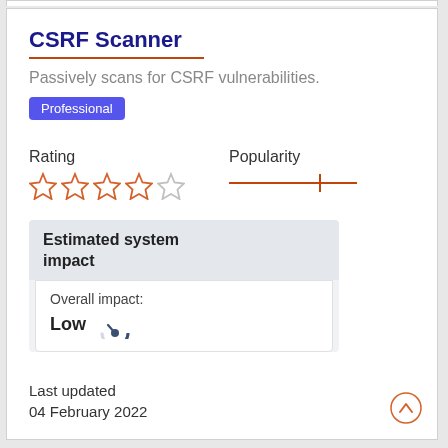CSRF Scanner
Passively scans for CSRF vulnerabilities.
Professional
Rating
[Figure (other): 4 orange outlined stars and 1 grey outlined star representing a rating]
Popularity
[Figure (other): Horizontal popularity bar/slider with orange line and vertical marker positioned about 70% along]
Estimated system impact
Overall impact: Low
Last updated
04 February 2022